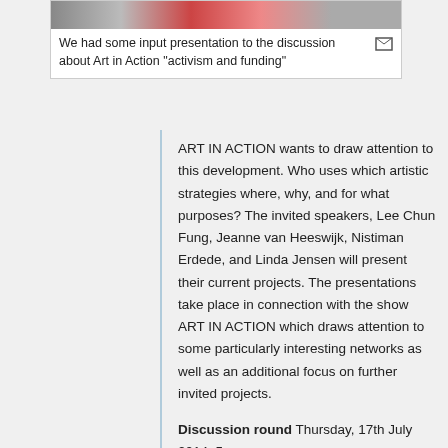[Figure (photo): Banner image cropped at top of card, showing people in colorful scene]
We had some input presentation to the discussion about Art in Action "activism and funding"
ART IN ACTION wants to draw attention to this development. Who uses which artistic strategies where, why, and for what purposes? The invited speakers, Lee Chun Fung, Jeanne van Heeswijk, Nistiman Erdede, and Linda Jensen will present their current projects. The presentations take place in connection with the show ART IN ACTION which draws attention to some particularly interesting networks as well as an additional focus on further invited projects.
Discussion round Thursday, 17th July 2014, 5 pm
Participants